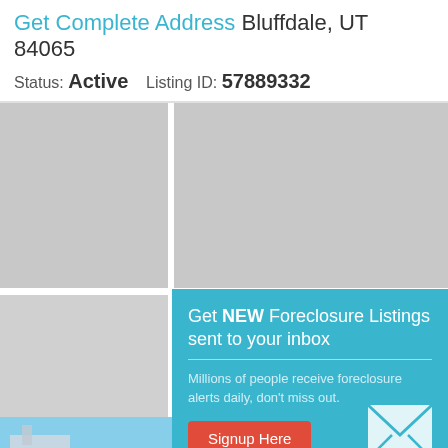Get Complete Address Bluffdale, UT 84065
Status: Active    Listing ID: 57889332
[Figure (screenshot): Gray placeholder property image panels and orange Audi car advertisement at bottom]
Get NEW Foreclosure Listings sent to your inbox
Millions of people receive foreclosure alerts daily, don't miss out.
Signup Here
No Thanks | Remind Me Later